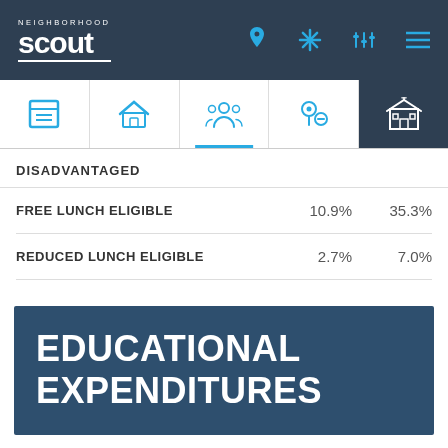Neighborhood Scout - navigation bar with logo and icons
[Figure (screenshot): Navigation tab row with 5 icons: calendar/list, home, people/group, crime pin, school building. Third tab (people) has blue underline active indicator. Last tab (school) has dark background.]
DISADVANTAGED
|  |  |  |
| --- | --- | --- |
| FREE LUNCH ELIGIBLE | 10.9% | 35.3% |
| REDUCED LUNCH ELIGIBLE | 2.7% | 7.0% |
EDUCATIONAL EXPENDITURES